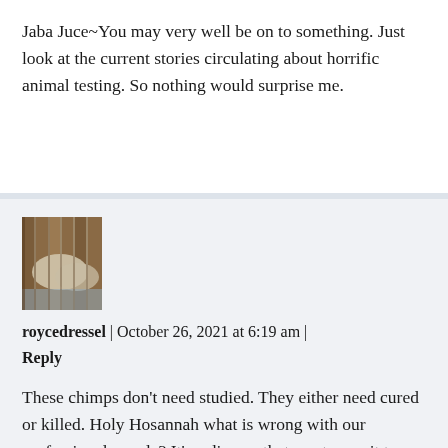Jaba Juce~You may very well be on to something. Just look at the current stories circulating about horrific animal testing. So nothing would surprise me.
[Figure (photo): Small thumbnail photo showing what appears to be a room with wooden slats or furniture, taken from an angle, with muted brown/blue tones.]
roycedressel | October 26, 2021 at 6:19 am | Reply
These chimps don't need studied. They either need cured or killed. Holy Hosannah what is wrong with our professional people? It's a disease that can transmit to people. It needs to be